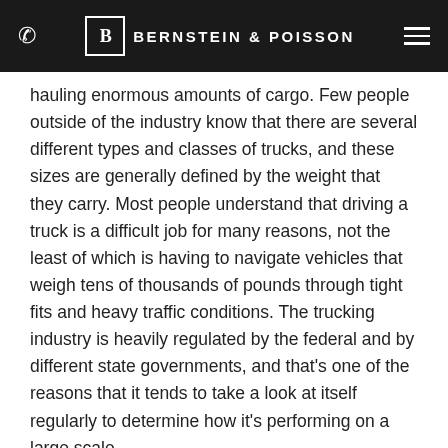Bernstein & Poisson
hauling enormous amounts of cargo. Few people outside of the industry know that there are several different types and classes of trucks, and these sizes are generally defined by the weight that they carry. Most people understand that driving a truck is a difficult job for many reasons, not the least of which is having to navigate vehicles that weigh tens of thousands of pounds through tight fits and heavy traffic conditions. The trucking industry is heavily regulated by the federal and by different state governments, and that's one of the reasons that it tends to take a look at itself regularly to determine how it's performing on a large scale.
Recently, an exhaustive study was done by a team of researchers that was intended to differentiate the relative crash rates of larger trucks as compared to trucks that do